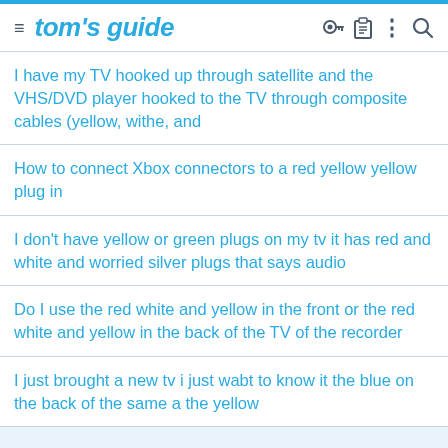tom's guide
I have my TV hooked up through satellite and the VHS/DVD player hooked to the TV through composite cables (yellow, withe, and
How to connect Xbox connectors to a red yellow yellow plug in
I don't have yellow or green plugs on my tv it has red and white and worried silver plugs that says audio
Do I use the red white and yellow in the front or the red white and yellow in the back of the TV of the recorder
I just brought a new tv i just wabt to know it the blue on the back of the same a the yellow